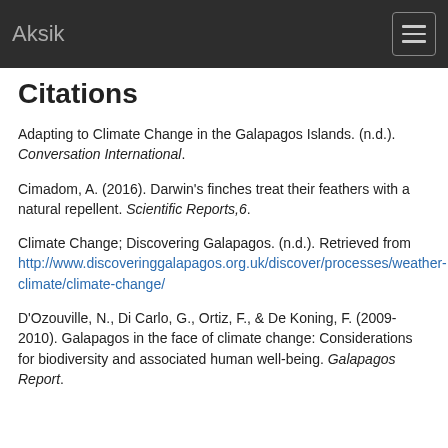Aksik
Citations
Adapting to Climate Change in the Galapagos Islands. (n.d.). Conversation International.
Cimadom, A. (2016). Darwin's finches treat their feathers with a natural repellent. Scientific Reports,6.
Climate Change; Discovering Galapagos. (n.d.). Retrieved from http://www.discoveringgalapagos.org.uk/discover/processes/weather-climate/climate-change/
D'Ozouville, N., Di Carlo, G., Ortiz, F., & De Koning, F. (2009-2010). Galapagos in the face of climate change: Considerations for biodiversity and associated human well-being. Galapagos Report.